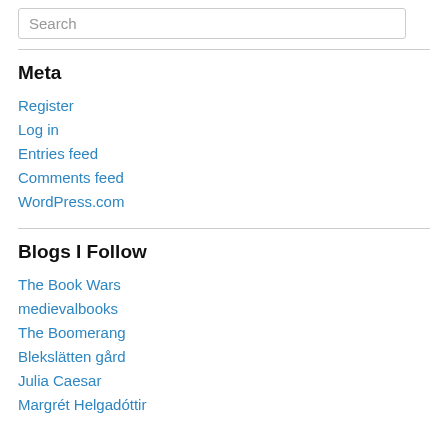Search
Meta
Register
Log in
Entries feed
Comments feed
WordPress.com
Blogs I Follow
The Book Wars
medievalbooks
The Boomerang
Blekslätten gård
Julia Caesar
Margrét Helgadóttir